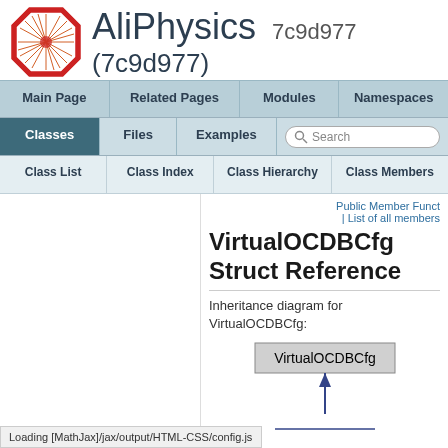[Figure (logo): AliPhysics logo — red octagon with starburst pattern]
AliPhysics 7c9d977 (7c9d977)
Main Page | Related Pages | Modules | Namespaces
Classes | Files | Examples | Search
Class List | Class Index | Class Hierarchy | Class Members
Public Member Funct
| List of all members
VirtualOCDBCfg Struct Reference
Inheritance diagram for VirtualOCDBCfg:
[Figure (other): Inheritance diagram showing VirtualOCDBCfg class node with an upward arrow indicating inheritance]
Loading [MathJax]/jax/output/HTML-CSS/config.js